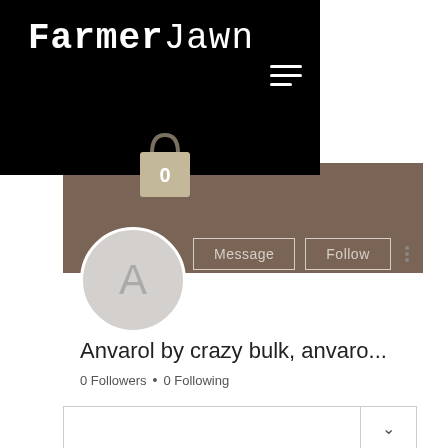[Figure (screenshot): FarmerJawn website header with black background showing logo text 'FarmerJawn' in mixed serif/sans typewriter font, hamburger menu icon in white, and a shopping bag icon with '0' badge]
[Figure (screenshot): User profile section with brownish-tan banner, circular avatar with letter 'A', Message and Follow buttons, and three-dot menu]
Anvarol by crazy bulk, anvaro...
0 Followers • 0 Following
[Figure (screenshot): Bottom tab bar with a chevron/dropdown arrow on the right side]